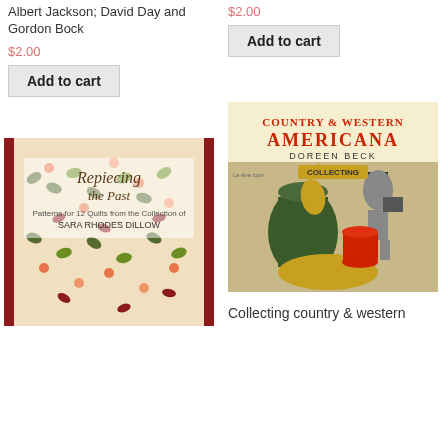Albert Jackson; David Day and Gordon Bock
$2.00
Add to cart
$2.00
Add to cart
[Figure (photo): Book cover: Repiecing the Past, Patterns for 12 Quilts from the Collection of Sara Rhodes Dillow. Floral and leaf pattern fabric design.]
[Figure (photo): Book cover: Collecting Country & Western Americana by Doreen Beck. Shows folk art animals and a figure in a top hat.]
Collecting country & western